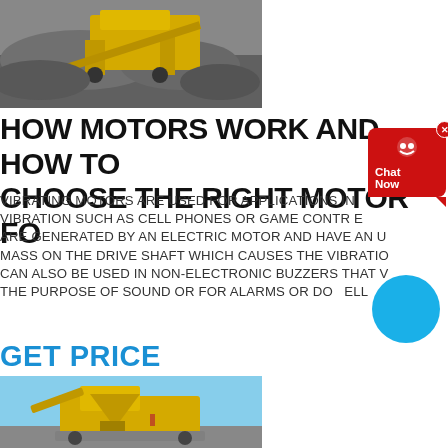[Figure (photo): Yellow mining/crushing equipment on a pile of gravel/aggregate material]
HOW MOTORS WORK AND HOW TO CHOOSE THE RIGHT MOTOR FOR
VIBRATING MOTORS ARE USED FOR APPLICATIONS IN VIBRATION SUCH AS CELL PHONES OR GAME CONTROLLERS. THESE ARE GENERATED BY AN ELECTRIC MOTOR AND HAVE AN UNBALANCED MASS ON THE DRIVE SHAFT WHICH CAUSES THE VIBRATION. THEY CAN ALSO BE USED IN NON-ELECTRONIC BUZZERS THAT VIBRATE FOR THE PURPOSE OF SOUND OR FOR ALARMS OR DOORBELLS.
GET PRICE
[Figure (photo): Yellow industrial crushing/milling equipment at a mining facility with blue sky background]